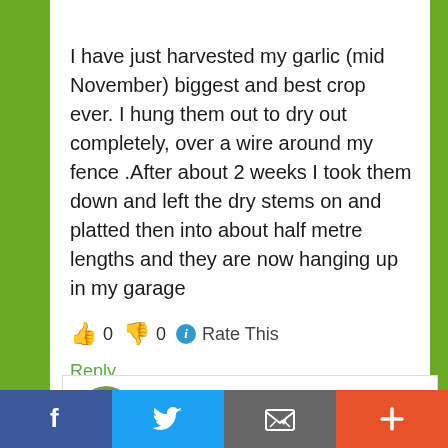I have just harvested my garlic (mid November) biggest and best crop ever. I hung them out to dry out completely, over a wire around my fence .After about 2 weeks I took them down and left the dry stems on and platted then into about half metre lengths and they are now hanging up in my garage
👍 0 👎 0 ℹ Rate This
Reply
Gavin Webber says